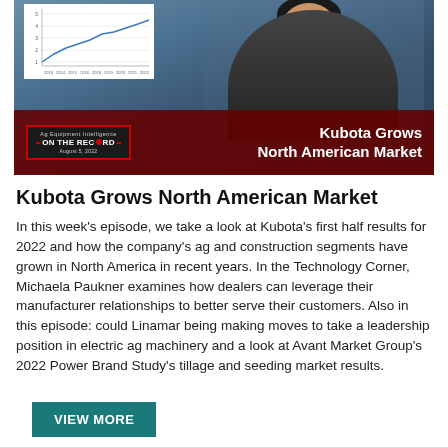[Figure (photo): Video thumbnail showing a female TV anchor in front of a branded backdrop with a line chart visible in the upper left. A red lower-third banner reads 'ON THE RECORD' on the left and 'Kubota Grows North American Market' on the right.]
Kubota Grows North American Market
In this week’s episode, we take a look at Kubota’s first half results for 2022 and how the company’s ag and construction segments have grown in North America in recent years. In the Technology Corner, Michaela Paukner examines how dealers can leverage their manufacturer relationships to better serve their customers. Also in this episode: could Linamar being making moves to take a leadership position in electric ag machinery and a look at Avant Market Group’s 2022 Power Brand Study’s tillage and seeding market results.
VIEW MORE